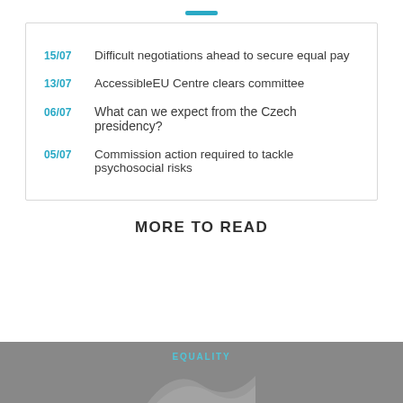15/07  Difficult negotiations ahead to secure equal pay
13/07  AccessibleEU Centre clears committee
06/07  What can we expect from the Czech presidency?
05/07  Commission action required to tackle psychosocial risks
MORE TO READ
EQUALITY